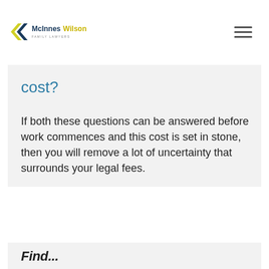[Figure (logo): McInnes Wilson Family Lawyers logo with navy and yellow/green chevron arrow mark]
cost?
If both these questions can be answered before work commences and this cost is set in stone, then you will remove a lot of uncertainty that surrounds your legal fees.
Find...